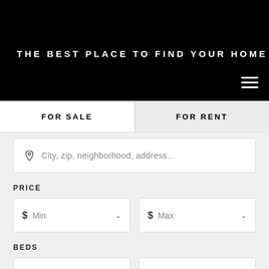THE BEST PLACE TO FIND YOUR HOME
FOR SALE
FOR RENT
City, zip, neighborhood, address...
PRICE
$ Min
$ Max
BEDS
Min
Max